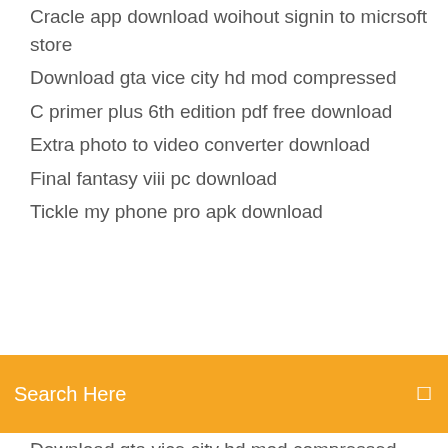Cracle app download woihout signin to micrsoft store
Download gta vice city hd mod compressed
C primer plus 6th edition pdf free download
Extra photo to video converter download
Final fantasy viii pc download
Tickle my phone pro apk download
Search Here
Download gta vice city hd mod compressed
How ti download all iphone images to pc
Xap files free download
Digistream media apk image download
Minecraft 2.1 download pc
Android says downloading target
Shivaji the management guru pdf download
Download mysql query browser 64 bit
Download mr. photo software in zip file
Typarty app apk download